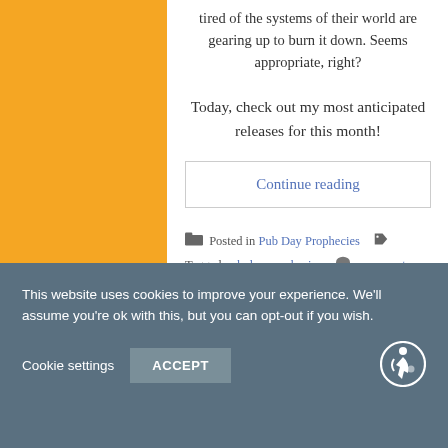tired of the systems of their world are gearing up to burn it down. Seems appropriate, right?
Today, check out my most anticipated releases for this month!
Continue reading
Posted in Pub Day Prophecies Tagged pub day prophecies comment
This website uses cookies to improve your experience. We'll assume you're ok with this, but you can opt-out if you wish. Cookie settings ACCEPT